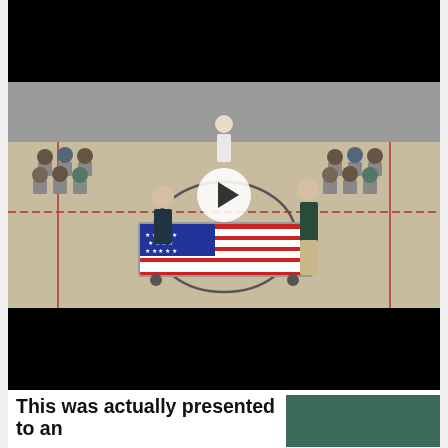[Figure (photo): A video screenshot showing a gymnasium where people are seated in chairs watching a flag-folding ceremony. A casket or gurney is draped with an American flag. Two men in dark shirts stand near it, one on each side. A play button overlay is visible in the center of the image. The top and bottom thirds of the video frame are black (letterboxed).]
This was actually presented to an